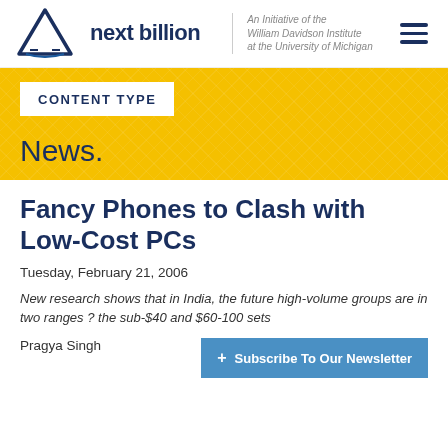next billion – An Initiative of the William Davidson Institute at the University of Michigan
CONTENT TYPE
News.
Fancy Phones to Clash with Low-Cost PCs
Tuesday, February 21, 2006
New research shows that in India, the future high-volume groups are in two ranges ? the sub-$40 and $60-100 sets
Pragya Singh
+ Subscribe To Our Newsletter